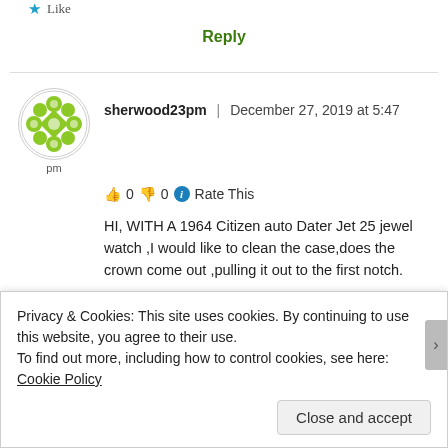★ Like
Reply
sherwood23pm | December 27, 2019 at 5:47 pm
👍 0 👎 0 ℹ Rate This
HI, WITH A 1964 Citizen auto Dater Jet 25 jewel watch ,I would like to clean the case,does the crown come out ,pulling it out to the first notch.
★ Like
Privacy & Cookies: This site uses cookies. By continuing to use this website, you agree to their use.
To find out more, including how to control cookies, see here: Cookie Policy
Close and accept